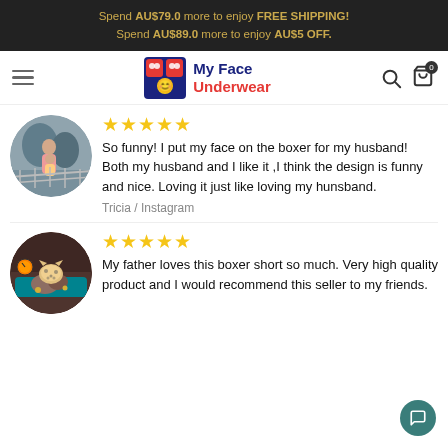Spend AU$79.0 more to enjoy FREE SHIPPING!
Spend AU$89.0 more to enjoy AU$5 OFF.
[Figure (logo): My Face Underwear logo with hamburger menu, search and cart icons]
[Figure (photo): Circular avatar photo of a woman with a child by a waterfront]
So funny! I put my face on the boxer for my husband! Both my husband and I like it ,I think the design is funny and nice. Loving it just like loving my hunsband.
Tricia / Instagram
[Figure (photo): Circular avatar photo of hands holding a small leopard cub]
My father loves this boxer short so much. Very high quality product and I would recommend this seller to my friends.